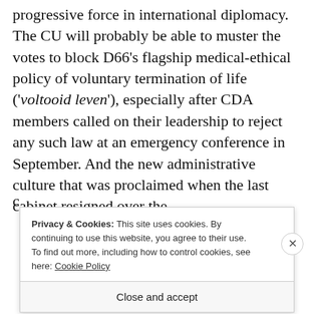progressive force in international diplomacy. The CU will probably be able to muster the votes to block D66's flagship medical-ethical policy of voluntary termination of life ('voltooid leven'), especially after CDA members called on their leadership to reject any such law at an emergency conference in September. And the new administrative culture that was proclaimed when the last cabinet resigned over the
Privacy & Cookies: This site uses cookies. By continuing to use this website, you agree to their use. To find out more, including how to control cookies, see here: Cookie Policy
Close and accept